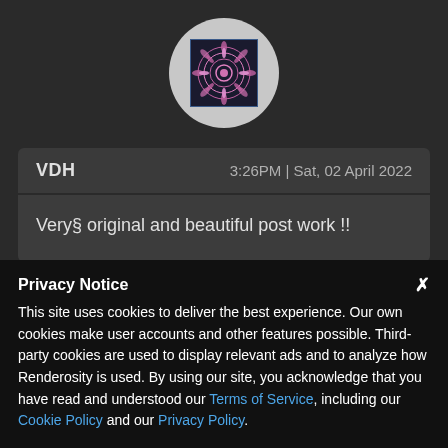[Figure (illustration): Circular avatar with decorative mandala/flower pattern image inside, gray circle background, positioned at top center]
VDH    3:26PM | Sat, 02 April 2022
Very§ original and beautiful post work !!
[Figure (illustration): Partial second avatar circle with radar/green graphic, partially visible at bottom center]
Privacy Notice
This site uses cookies to deliver the best experience. Our own cookies make user accounts and other features possible. Third-party cookies are used to display relevant ads and to analyze how Renderosity is used. By using our site, you acknowledge that you have read and understood our Terms of Service, including our Cookie Policy and our Privacy Policy.